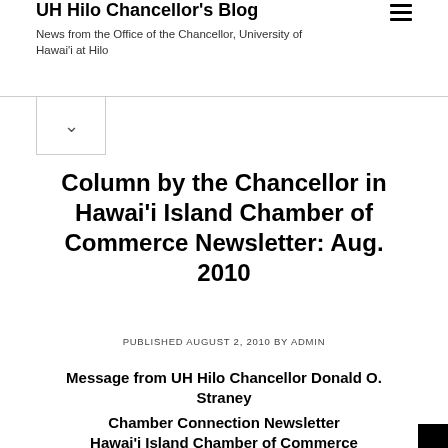UH Hilo Chancellor's Blog
News from the Office of the Chancellor, University of Hawai'i at Hilo
Column by the Chancellor in Hawai'i Island Chamber of Commerce Newsletter: Aug. 2010
PUBLISHED AUGUST 2, 2010 BY ADMIN
Message from UH Hilo Chancellor Donald O. Straney
Chamber Connection Newsletter
Hawai'i Island Chamber of Commerce